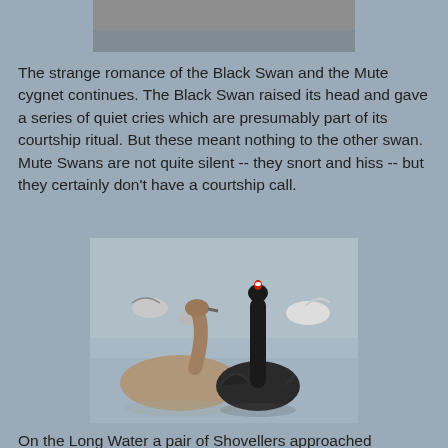[Figure (photo): Partial view of top photo, cropped at top of page — sky/water background, grey tones]
The strange romance of the Black Swan and the Mute cygnet continues. The Black Swan raised its head and gave a series of quiet cries which are presumably part of its courtship ritual. But these meant nothing to the other swan. Mute Swans are not quite silent -- they snort and hiss -- but they certainly don't have a courtship call.
[Figure (photo): Photograph of a Mute cygnet (grey-brown juvenile swan) and a Black Swan with neck raised vertically, on a lake with other waterfowl in the background including gulls and another swan.]
On the Long Water a pair of Shovellers approached